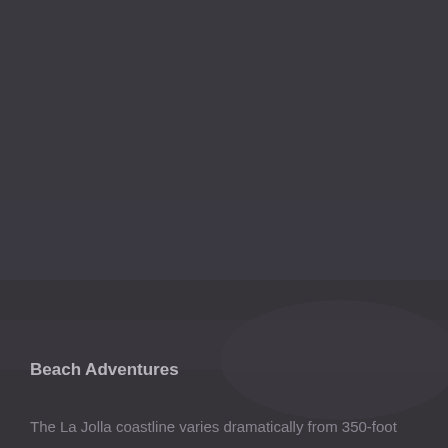[Figure (photo): Dark background photograph of La Jolla coastline, showing cliffs and ocean, rendered in very dark tones almost blending into the dark background.]
Beach Adventures
The La Jolla coastline varies dramatically from 350-foot